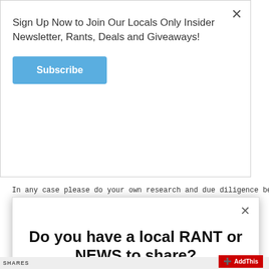Sign Up Now to Join Our Locals Only Insider Newsletter, Rants, Deals and Giveaways!
Subscribe
In any case please do your own research and due diligence before
Do you have a local RANT or NEWS to share?
Yes please!
No, thanks!
SHARES
AddThis